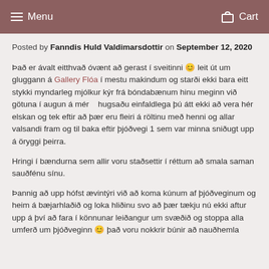Menu   Cart
Posted by Fanndis Huld Valdimarsdottir on September 12, 2020
Það er ávalt eitthvað óvænt að gerast í sveitinni 😊 leit út um gluggann á Gallery Flóa í mestu makindum og starði ekki bara eitt stykki myndarleg mjólkur kýr frá bóndabænum hinu meginn við götuna í augun á mér   hugsaðu einfaldlega þú átt ekki að vera hér elskan og tek eftir að þær eru fleiri á röltinu með henni og allar valsandi fram og til baka eftir þjóðvegi 1 sem var minna sniðugt upp á öryggi þeirra.
Hringi í bændurna sem allir voru staðsettir í réttum að smala saman sauðfénu sínu.
Þannig að upp hófst ævintýri við að koma kúnum af þjóðveginum og heim á bæjarhlaðið og loka hliðinu svo að þær tækju nú ekki aftur upp á því að fara í könnunar leiðangur um svæðið og stoppa alla umferð um þjóðveginn 😊 það voru nokkrir búnir að nauðhemla